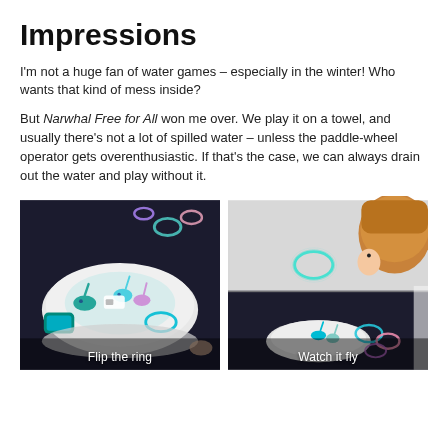Impressions
I'm not a huge fan of water games – especially in the winter! Who wants that kind of mess inside?
But Narwhal Free for All won me over. We play it on a towel, and usually there's not a lot of spilled water – unless the paddle-wheel operator gets overenthusiastic. If that's the case, we can always drain out the water and play without it.
[Figure (photo): Photo of the Narwhal Free for All game board with narwhal figurines and colorful rings on a dark surface. Caption: Flip the ring]
[Figure (photo): Photo of a child watching a ring fly through the air above the game, with colorful rings visible. Caption: Watch it fly]